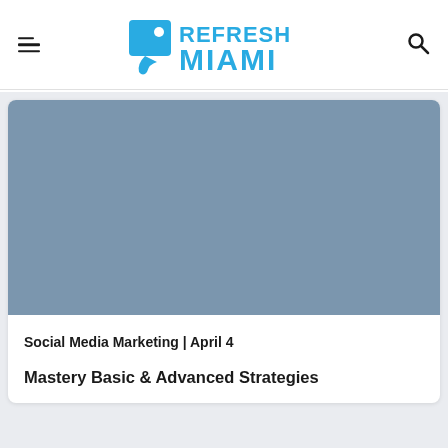Refresh Miami
[Figure (photo): Placeholder image with blue-grey background color for a social media marketing event]
Social Media Marketing | April 4
Mastery Basic & Advanced Strategies